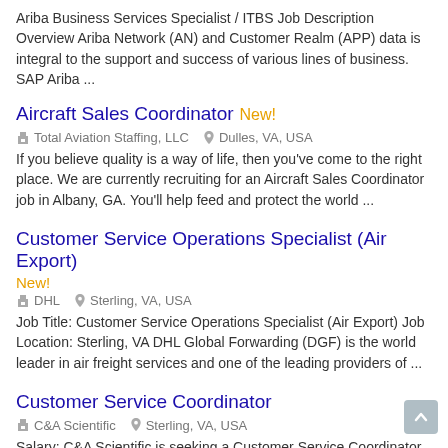Ariba Business Services Specialist / ITBS Job Description Overview Ariba Network (AN) and Customer Realm (APP) data is integral to the support and success of various lines of business. SAP Ariba ...
Aircraft Sales Coordinator New!
Total Aviation Staffing, LLC   Dulles, VA, USA
If you believe quality is a way of life, then you've come to the right place. We are currently recruiting for an Aircraft Sales Coordinator job in Albany, GA. You'll help feed and protect the world ...
Customer Service Operations Specialist (Air Export) New!
DHL   Sterling, VA, USA
Job Title: Customer Service Operations Specialist (Air Export) Job Location: Sterling, VA DHL Global Forwarding (DGF) is the world leader in air freight services and one of the leading providers of ...
Customer Service Coordinator
C&A Scientific   Sterling, VA, USA
Salary: C&A Scientific is seeking a Customer Service Coordinator to our team! The Customer Service Coordinator will serve as a